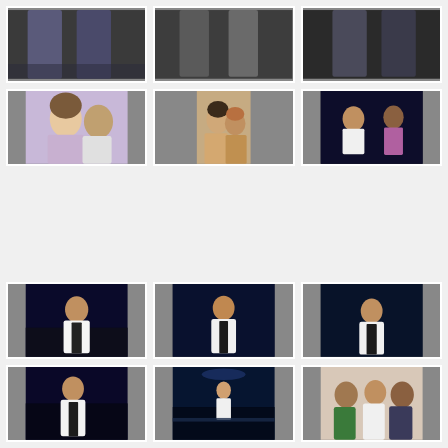[Figure (photo): Two people posing together indoors, partial top crop]
[Figure (photo): Two people standing together indoors, partial top crop]
[Figure (photo): Two men standing together, partial top crop]
[Figure (photo): Woman with bald man smiling, selfie/close-up, purple shirt]
[Figure (photo): Woman and bald man close-up selfie, warm tones, taller image spanning two row slots]
[Figure (photo): Bald man in white jacket on stage with woman in colorful outfit, dark blue stage]
[Figure (photo): Bald man in white jacket on blue-lit stage, looking forward]
[Figure (photo): Bald man in white jacket on blue-lit stage, arms crossed]
[Figure (photo): Bald man in white jacket on blue-lit stage, seated]
[Figure (photo): Bald man in white jacket on stage, blue lighting]
[Figure (photo): Performer on wide stage, orchestra or band visible, blue lighting]
[Figure (photo): Group of three people posing together indoors, green and white outfits]
[Figure (photo): Group of three people including bald man at indoor event]
[Figure (photo): Group of people posing together at indoor event]
[Figure (photo): Group with older man and woman posing at indoor event]